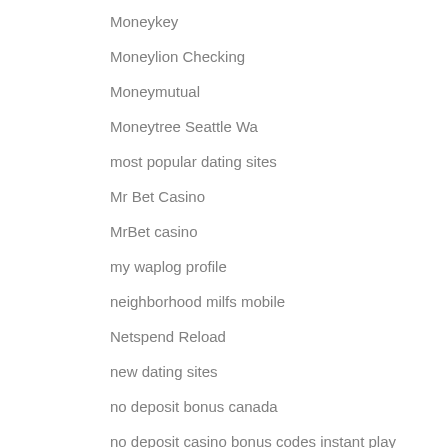Moneykey
Moneylion Checking
Moneymutual
Moneytree Seattle Wa
most popular dating sites
Mr Bet Casino
MrBet casino
my waplog profile
neighborhood milfs mobile
Netspend Reload
new dating sites
no deposit bonus canada
no deposit casino bonus codes instant play